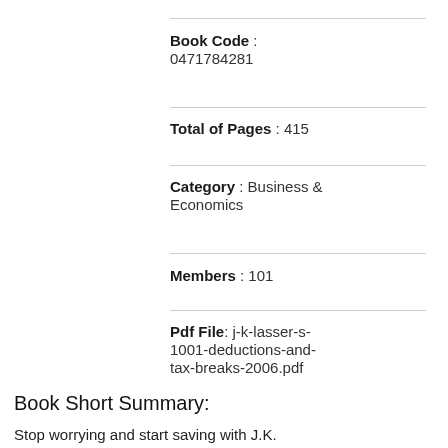Book Code : 0471784281
Total of Pages : 415
Category : Business & Economics
Members : 101
Pdf File: j-k-lasser-s-1001-deductions-and-tax-breaks-2006.pdf
Book Short Summary:
Stop worrying and start saving with J.K.